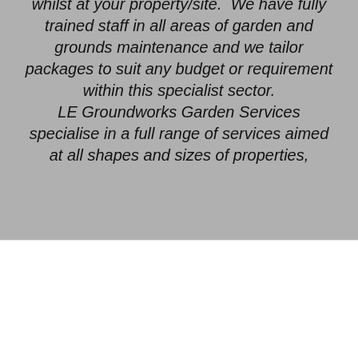whilst at your property/site.  We have fully trained staff in all areas of garden and grounds maintenance and we tailor packages to suit any budget or requirement within this specialist sector. LE Groundworks Garden Services specialise in a full range of services aimed at all shapes and sizes of properties,
We use cookies on our website to see how you interact with it. By accepting, you agree to our use of such cookies. Privacy Policy
Settings
Accept